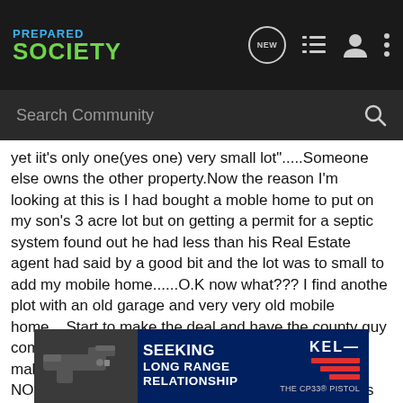PREPARED SOCIETY — navigation header with logo, NEW icon, list icon, person icon, more icon
Search Community
yet iit's only one(yes one) very small lot".....Someone else owns the other property.Now the reason I'm looking at this is I had bought a moble home to put on my son's 3 acre lot but on getting a permit for a septic system found out he had less than his Real Estate agent had said by a good bit and the lot was to small to add my mobile home......O.K now what??? I find anothe plot with an old garage and very very old mobile home....Start to make the deal and have the county guy come out...I said please,I want very large red flags to make my property(including a small pond)so there is NO doubt where the lines go!!!(Course the seller says we just had that done a few months ago...Lesson learned from the last time )Done deal.So the lesson here is don't take ANYONES word that it's "about" so may acr people that they !!!!!!!!
[Figure (advertisement): Kel-Tec advertisement: SEEKING LONG RANGE RELATIONSHIP THE CP33 PISTOL, with gun image on dark blue background]